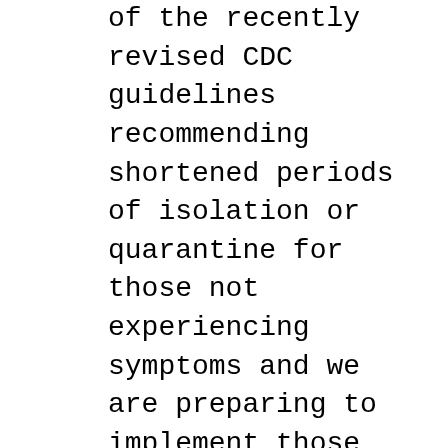of the recently revised CDC guidelines recommending shortened periods of isolation or quarantine for those not experiencing symptoms and we are preparing to implement those new guidelines once we receive some clarifying information from the Illinois Department of Public Health and the DuPage County Health Department. Please know that we will continue to closely follow required masking and social distancing protocols at our schools. Please continue to partner with Salt Creek District 48 by considering the following: Keep your child home if they exhibit any symptoms of illness. Notify your school nurse if your child has any COVID-19 related symptoms. Contact your child's principal if you have any questions related to any COVID-19 health or safety procedures. Please be as flexible as possible as we continue to assess the challenges that face our school district.